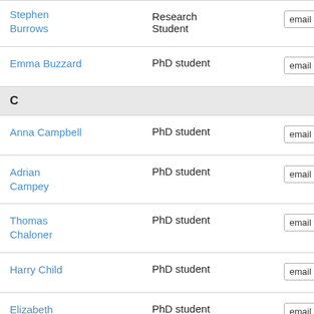| Name | Role | Contact |
| --- | --- | --- |
| Stephen Burrows | Research Student | email ad... |
| Emma Buzzard | PhD student | email ad... |
| C |  |  |
| Anna Campbell | PhD student | email ad... |
| Adrian Campey | PhD student | email ad... |
| Thomas Chaloner | PhD student | email ad... |
| Harry Child | PhD student | email ad... |
| Elizabeth Colli... | PhD student | email ad... |